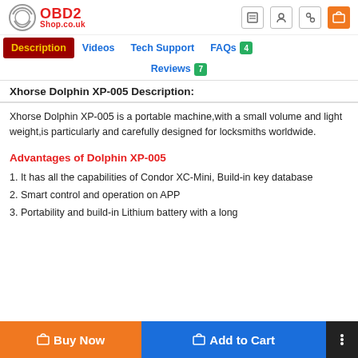OBD2 Shop.co.uk
Description | Videos | Tech Support | FAQs 4 | Reviews 7
Xhorse Dolphin XP-005 Description:
Xhorse Dolphin XP-005 is a portable machine,with a small volume and light weight,is particularly and carefully designed for locksmiths worldwide.
Advantages of Dolphin XP-005
1. It has all the capabilities of Condor XC-Mini, Build-in key database
2. Smart control and operation on APP
3. Portability and build-in Lithium battery with a long
Buy Now | Add to Cart